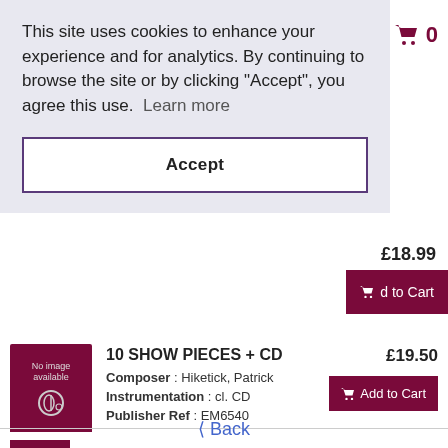This site uses cookies to enhance your experience and for analytics. By continuing to browse the site or by clicking "Accept", you agree this use.  Learn more
Accept
0
£18.99
d to Cart
10 SHOW PIECES + CD
Composer : Hiketick, Patrick
Instrumentation : cl. CD
Publisher Ref : EM6540
£19.50
Add to Cart
10 STUDI CAPRICCIO di Grande
£11.99
‹ Back